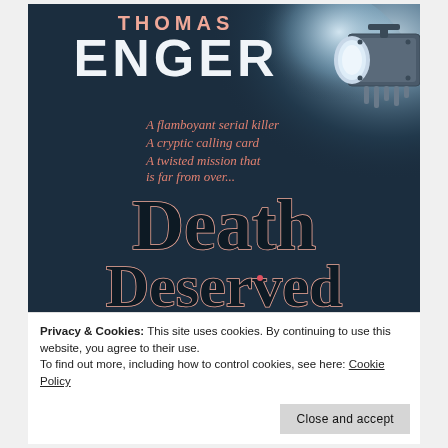[Figure (illustration): Book cover for 'Death Deserved' by Thomas Enger. Dark teal/navy background with a stage spotlight. Author name 'THOMAS ENGER' in large white and salmon/pink letters at top. Taglines in salmon/red text: 'A flamboyant serial killer', 'A cryptic calling card', 'A twisted mission that is far from over...'. Title 'Death Deserved' in large black and white script with salmon/pink outlines at bottom.]
Privacy & Cookies: This site uses cookies. By continuing to use this website, you agree to their use.
To find out more, including how to control cookies, see here: Cookie Policy
Close and accept